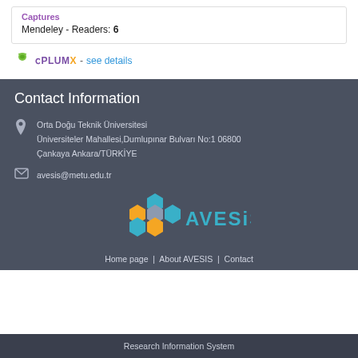Captures
Mendeley - Readers: 6
[Figure (logo): PlumX logo with text '- see details' link]
Contact Information
Orta Doğu Teknik Üniversitesi
Üniversiteler Mahallesi,Dumlupınar Bulvarı No:1 06800
Çankaya Ankara/TÜRKİYE
avesis@metu.edu.tr
[Figure (logo): AVESIS logo with hexagonal shapes in teal and orange]
Home page | About AVESIS | Contact
Research Information System